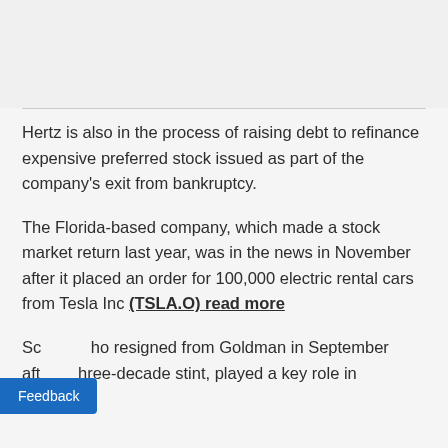Hertz is also in the process of raising debt to refinance expensive preferred stock issued as part of the company's exit from bankruptcy.
The Florida-based company, which made a stock market return last year, was in the news in November after it placed an order for 100,000 electric rental cars from Tesla Inc (TSLA.O) read more
Scherr, who resigned from Goldman in September after a three-decade stint, played a key role in